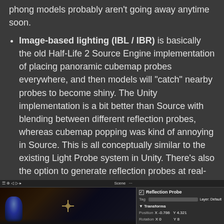phong models probably aren't going away anytime soon.
Image-based lighting (IBL / IBR) is basically the old Half-Life 2 Source Engine implementation of placing panoramic cubemap probes everywhere, and then models will "catch" nearby probes to become shiny. The Unity implementation is a bit better than Source with blending between different reflection probes, whereas cubemap popping was kind of annoying in Source. This is all conceptually similar to the existing Light Probe system in Unity. There's also the option to generate reflection probes at real-time for easy mirrors and whatnot, which sounds incredibly expensive to me. Anyway, this pretty much works the way I'd expect it to work, and it resembles my own cubemap system that I coded a year and a half ago.
[Figure (screenshot): Screenshot of a Unity 3D scene editor showing a dark indoor scene with a blue glowing character, and a Reflection Probe inspector panel on the right side showing Tag, Transform, Position, and Rotation fields.]